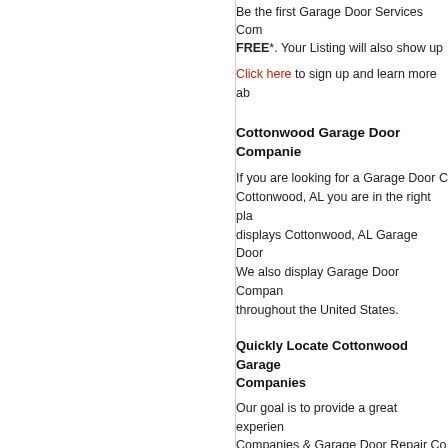Be the first Garage Door Services Co... FREE*. Your Listing will also show up ...
Click here to sign up and learn more ab...
Cottonwood Garage Door Companie...
If you are looking for a Garage Door Co... Cottonwood, AL you are in the right pla... displays Cottonwood, AL Garage Door... We also display Garage Door Compan... throughout the United States.
Quickly Locate Cottonwood Garage... Companies
Our goal is to provide a great experien... Companies & Garage Door Repair Co... directory free of clutter and unnecessa... Cottonwood Garage Door Companies ... the FindLocal-Garage Door Directory.
Please use our zip code search functio... Door Companies & Garage Door Repa... the city where you are trying to find a G... Company.